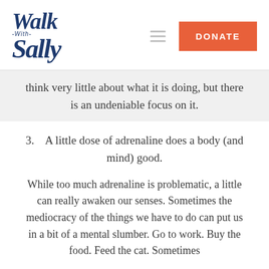[Figure (logo): Walk With Sally logo in dark navy blue italic serif font]
think very little about what it is doing, but there is an undeniable focus on it.
3.   A little dose of adrenaline does a body (and mind) good.
While too much adrenaline is problematic, a little can really awaken our senses. Sometimes the mediocracy of the things we have to do can put us in a bit of a mental slumber. Go to work. Buy the food. Feed the cat. Sometimes